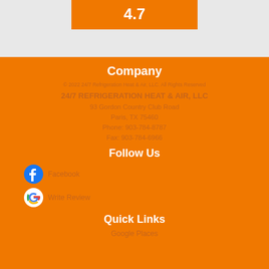[Figure (other): Rating score box showing 4.7 on orange background]
Company
© 2022 24/7 Refrigeration Heat & Air, LLC. All Rights Reserved
24/7 REFRIGERATION HEAT & AIR, LLC
93 Gordon Country Club Road
Paris, TX 75460
Phone: 903-784-8787
Fax: 903-784-6966
Follow Us
Facebook
Write Review
Quick Links
Google Places